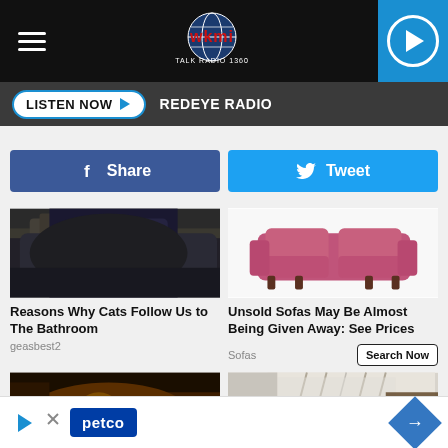WKMI Talk Radio 1360 - header with hamburger menu, logo, and play button
LISTEN NOW ▶  REDEYE RADIO
[Figure (screenshot): Facebook Share button (dark blue) and Twitter Tweet button (light blue)]
[Figure (photo): Close-up photo of a person in dark jeans/clothing, seated]
Reasons Why Cats Follow Us to The Bathroom
geasbest2
[Figure (photo): Pink/magenta sofa on white background]
Unsold Sofas May Be Almost Being Given Away: See Prices
Sofas
Search Now
[Figure (photo): Cave or underground cavern with warm orange lighting]
[Figure (photo): Room interior with curtains/window]
[Figure (advertisement): Petco advertisement banner with blue logo and navigation arrow diamond]